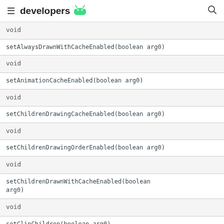developers
| void |
| setAlwaysDrawnWithCacheEnabled(boolean arg0) |
| void |
| setAnimationCacheEnabled(boolean arg0) |
| void |
| setChildrenDrawingCacheEnabled(boolean arg0) |
| void |
| setChildrenDrawingOrderEnabled(boolean arg0) |
| void |
| setChildrenDrawnWithCacheEnabled(boolean arg0) |
| void |
| setClipChildren(boolean arg0) |
| void |